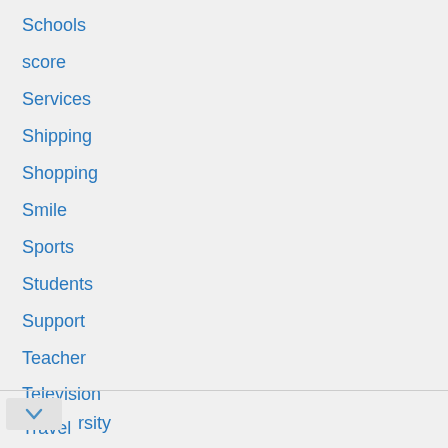Schools
score
Services
Shipping
Shopping
Smile
Sports
Students
Support
Teacher
Television
Travel
…ersity